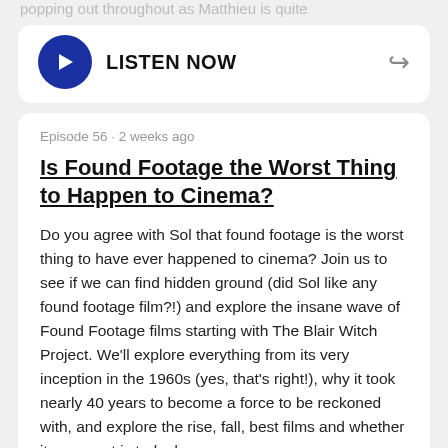popping out throughout as Matthieu is quite
[Figure (other): Listen Now audio player card with blue play button and share icon]
Episode 56 · 2 weeks ago
Is Found Footage the Worst Thing to Happen to Cinema?
Do you agree with Sol that found footage is the worst thing to have ever happened to cinema? Join us to see if we can find hidden ground (did Sol like any found footage film?!) and explore the insane wave of Found Footage films starting with The Blair Witch Project. We'll explore everything from its very inception in the 1960s (yes, that's right!), why it took nearly 40 years to become a force to be reckoned with, and explore the rise, fall, best films and whether its moment is truly done.